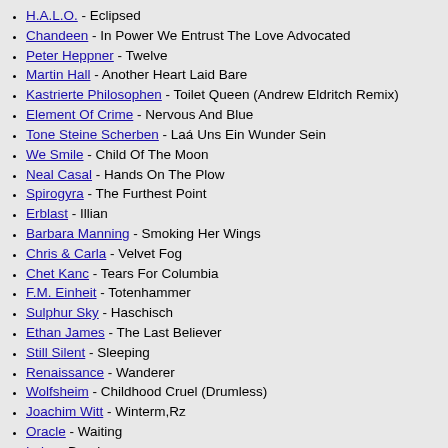H.A.L.O. - Eclipsed
Chandeen - In Power We Entrust The Love Advocated
Peter Heppner - Twelve
Martin Hall - Another Heart Laid Bare
Kastrierte Philosophen - Toilet Queen (Andrew Eldritch Remix)
Element Of Crime - Nervous And Blue
Tone Steine Scherben - Laá Uns Ein Wunder Sein
We Smile - Child Of The Moon
Neal Casal - Hands On The Plow
Spirogyra - The Furthest Point
Erblast - Illian
Barbara Manning - Smoking Her Wings
Chris & Carla - Velvet Fog
Chet Kanc - Tears For Columbia
F.M. Einheit - Totenhammer
Sulphur Sky - Haschisch
Ethan James - The Last Believer
Still Silent - Sleeping
Renaissance - Wanderer
Wolfsheim - Childhood Cruel (Drumless)
Joachim Witt - Winterm,Rz
Oracle - Waiting
Lobe - Dorain
Zoon Politicon - Mercy
Carlos Peron - La Salle Noire (Radio & Tv Mix)
De/Vision - Today's Life (Live)
The Northern Territories - The Devil Slowly Turns
Scare Crows - Trip (Emerald Sea)
Play The Track Of - World Without
Hip Young Things - Take No Prisoners
Gun Club - The Breaking Hands
The Bathers - Thrive